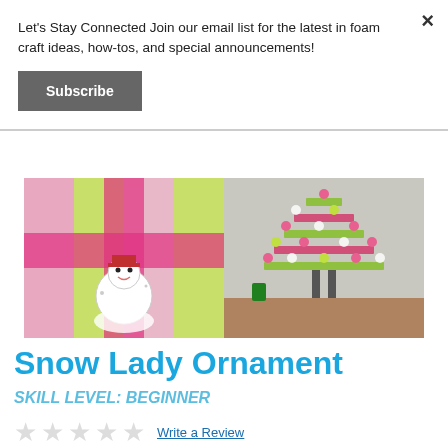Let's Stay Connected Join our email list for the latest in foam craft ideas, how-tos, and special announcements!
Subscribe
[Figure (photo): Snow lady ornament hanging against pink and green painted wood background]
[Figure (photo): Pink and green wooden Christmas tree with ornaments]
Snow Lady Ornament
SKILL LEVEL: BEGINNER
★ ★ ★ ★ ★  Write a Review
[Figure (other): Social media sharing icons row]